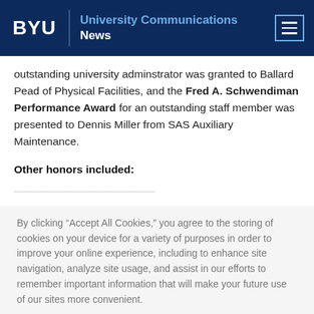BYU | University Communications News
outstanding university adminstrator was granted to Ballard Pead of Physical Facilities, and the Fred A. Schwendiman Performance Award for an outstanding staff member was presented to Dennis Miller from SAS Auxiliary Maintenance.
Other honors included:
(faded partial line)
By clicking “Accept All Cookies,” you agree to the storing of cookies on your device for a variety of purposes in order to improve your online experience, including to enhance site navigation, analyze site usage, and assist in our efforts to remember important information that will make your future use of our sites more convenient.